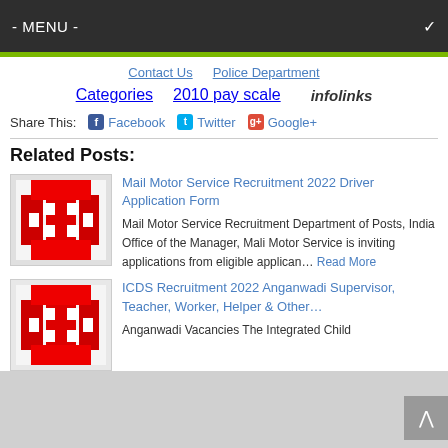- MENU -
Contact Us | Police Department
Categories | 2010 pay scale | infolinks
Share This: Facebook Twitter Google+
Related Posts:
Mail Motor Service Recruitment 2022 Driver Application Form — Mail Motor Service Recruitment Department of Posts, India Office of the Manager, Mali Motor Service is inviting applications from eligible applican… Read More
ICDS Recruitment 2022 Anganwadi Supervisor, Teacher, Worker, Helper & Other… — Anganwadi Vacancies The Integrated Child